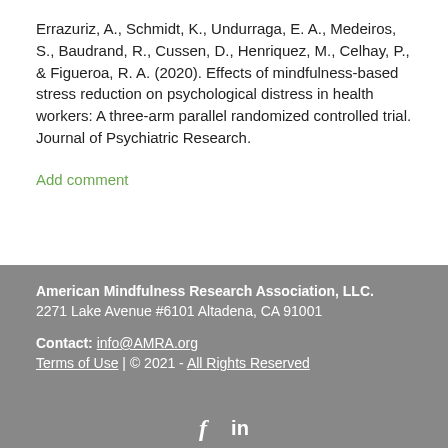Errazuriz, A., Schmidt, K., Undurraga, E. A., Medeiros, S., Baudrand, R., Cussen, D., Henriquez, M., Celhay, P., & Figueroa, R. A. (2020). Effects of mindfulness-based stress reduction on psychological distress in health workers: A three-arm parallel randomized controlled trial. Journal of Psychiatric Research.
Add comment
American Mindfulness Research Association, LLC.
2271 Lake Avenue #6101 Altadena, CA 91001
Contact: info@AMRA.org
Terms of Use | © 2021 - All Rights Reserved